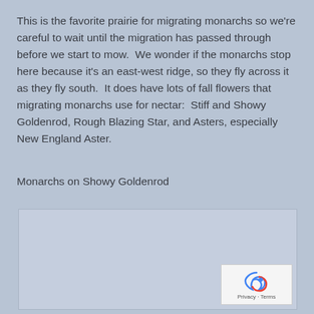This is the favorite prairie for migrating monarchs so we're careful to wait until the migration has passed through before we start to mow.  We wonder if the monarchs stop here because it's an east-west ridge, so they fly across it as they fly south.  It does have lots of fall flowers that migrating monarchs use for nectar:  Stiff and Showy Goldenrod, Rough Blazing Star, and Asters, especially New England Aster.
Monarchs on Showy Goldenrod
[Figure (photo): Photo placeholder box for monarchs on Showy Goldenrod, with a Google privacy/terms badge in the bottom right corner.]